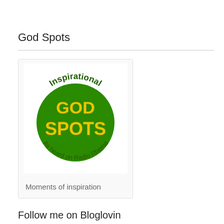God Spots
[Figure (logo): Inspirational God Spots logo — green circle with yellow text 'GOD SPOTS' inside, dark green text 'Inspirational' arched above, dark green text 'As heard on Radio Rhema' arched below]
Moments of inspiration
Follow me on Bloglovin